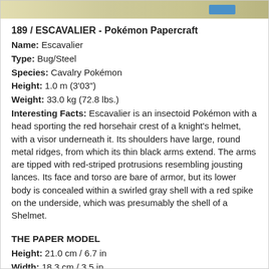[Figure (illustration): Top portion of a Pokémon papercraft image showing a beige/yellow background with a blue element visible at the right side.]
189 / ESCAVALIER - Pokémon Papercraft
Name: Escavalier
Type: Bug/Steel
Species: Cavalry Pokémon
Height: 1.0 m (3'03")
Weight: 33.0 kg (72.8 lbs.)
Interesting Facts: Escavalier is an insectoid Pokémon with a head sporting the red horsehair crest of a knight's helmet, with a visor underneath it. Its shoulders have large, round metal ridges, from which its thin black arms extend. The arms are tipped with red-striped protrusions resembling jousting lances. Its face and torso are bare of armor, but its lower body is concealed within a swirled gray shell with a red spike on the underside, which was presumably the shell of a Shelmet.
THE PAPER MODEL
Height: 21.0 cm / 6.7 in
Width: 18.3 cm / 3.5 in
Depth: 25.1 cm / 7.6 in
Pages: 6
Pieces: 47
Level: Medium
Designer: Brandon